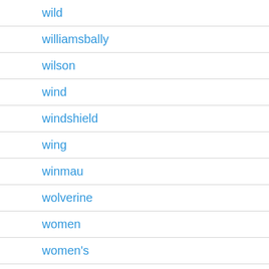wild
williamsbally
wilson
wind
windshield
wing
winmau
wolverine
women
women's
wood
woodland
woodmaster